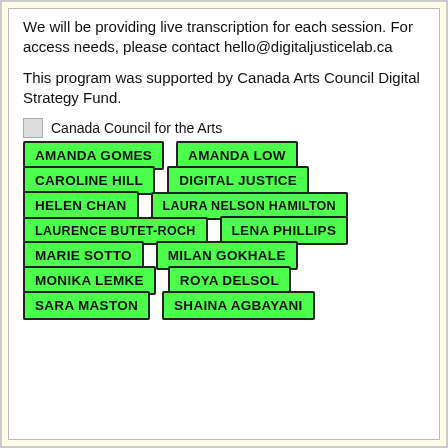We will be providing live transcription for each session. For access needs, please contact hello@digitaljusticelab.ca
This program was supported by Canada Arts Council Digital Strategy Fund.
Canada Council for the Arts
AMANDA GOMES
AMANDA LOW
CAROLINE HILL
DIGITAL JUSTICE
HELEN CHAN
LAURA NELSON HAMILTON
LAURENCE BUTET-ROCH
LENA PHILLIPS
MARIE SOTTO
MILAN GOKHALE
MONIKA LEMKE
ROYA DELSOL
SARA MASTON
SHAINA AGBAYANI